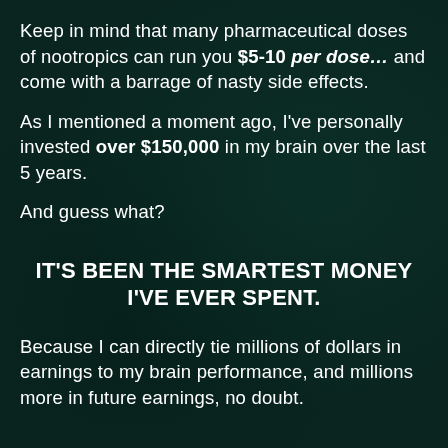Keep in mind that many pharmaceutical doses of nootropics can run you $5-10 per dose… and come with a barrage of nasty side effects.
As I mentioned a moment ago, I've personally invested over $150,000 in my brain over the last 5 years.
And guess what?
IT'S BEEN THE SMARTEST MONEY I'VE EVER SPENT.
Because I can directly tie millions of dollars in earnings to my brain performance, and millions more in future earnings, no doubt.